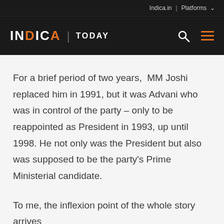Indica.in | Platforms
INDICA | TODAY
For a brief period of two years,  MM Joshi replaced him in 1991, but it was Advani who was in control of the party – only to be reappointed as President in 1993, up until 1998. He not only was the President but also was supposed to be the party's Prime Ministerial candidate.
To me, the inflexion point of the whole story arrives